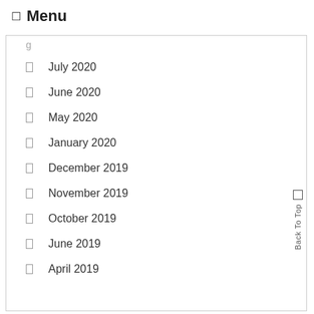☰ Menu
July 2020
June 2020
May 2020
January 2020
December 2019
November 2019
October 2019
June 2019
April 2019